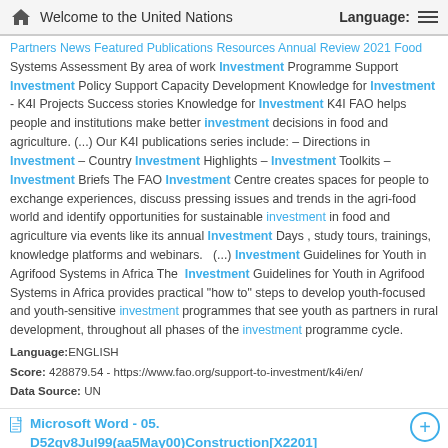Welcome to the United Nations | Language:
Partners News Featured Publications Resources Annual Review 2021 Food Systems Assessment By area of work Investment Programme Support Investment Policy Support Capacity Development Knowledge for Investment - K4I Projects Success stories Knowledge for Investment K4I FAO helps people and institutions make better investment decisions in food and agriculture. (...) Our K4I publications series include: – Directions in Investment – Country Investment Highlights – Investment Toolkits – Investment Briefs The FAO Investment Centre creates spaces for people to exchange experiences, discuss pressing issues and trends in the agri-food world and identify opportunities for sustainable investment in food and agriculture via events like its annual Investment Days , study tours, trainings, knowledge platforms and webinars.   (...) Investment Guidelines for Youth in Agrifood Systems in Africa The  Investment Guidelines for Youth in Agrifood Systems in Africa provides practical "how to" steps to develop youth-focused and youth-sensitive investment programmes that see youth as partners in rural development, throughout all phases of the investment programme cycle.
Language:ENGLISH
Score: 428879.54 - https://www.fao.org/support-to-investment/k4i/en/
Data Source: UN
Microsoft Word - 05. D52qv8Jul99(aa5May00)Construction[X2201]